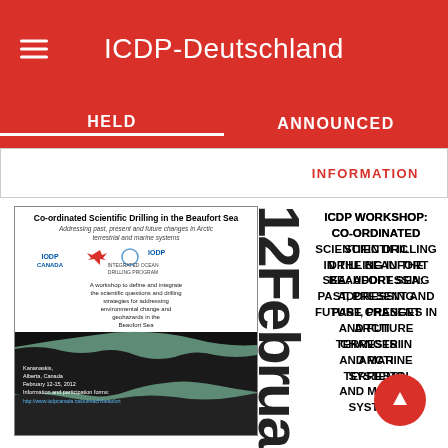ICDP-Deutschland
HELD
ANNOUNCED
INFORMATION
[Figure (illustration): Workshop poster for Co-ordinated Scientific Drilling in the Beaufort Sea, showing IODP logos, map of Arctic region, and event details: Kananaskis, Alberta, Canada, February 12-15, 2012.]
12 Februa
ICDP WORKSHOP: CO-ORDINATED SCIENTIFIC DRILLING IN THE BEAUFORT SEA: ADDRESSING PAST, PRESENT AND FUTURE CHANGES IN ARCTIC TERRESTRIAL AND MARINE SYSTEMS